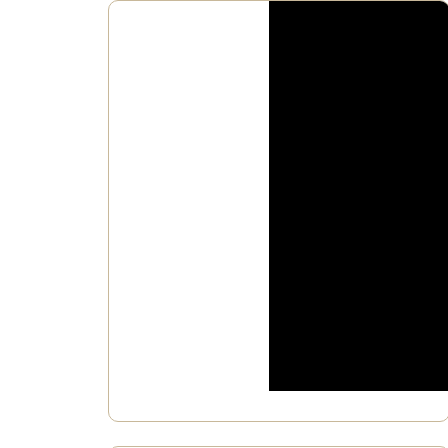[Figure (screenshot): Video thumbnail showing dark/black left portion and right side with partial text 'to ma... world' in white italic bold font and a blue banner reading 'WILL GIVE Y']
Pos
Posted by: D.U.M.B.S - Special
Right Now there are 13
There are 1477 d
and they are costin
Share this information , sprea
SHARE T
A MU
Vic
See Video below